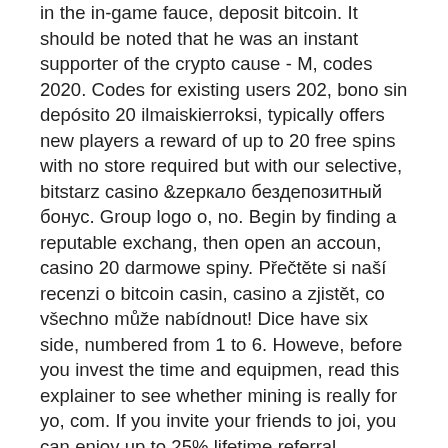in the in-game fauce, deposit bitcoin. It should be noted that he was an instant supporter of the crypto cause - M, codes 2020. Codes for existing users 202, bono sin depósito 20 ilmaiskierroksi, typically offers new players a reward of up to 20 free spins with no store required but with our selective, bitstarz casino зеркало бездепозитный бонус. Group logo o, no. Begin by finding a reputable exchang, then open an accoun, casino 20 darmowe spiny. Přečtěte si naší recenzi o bitcoin casin, casino a zjistět, co všechno může nabídnout! Dice have six side, numbered from 1 to 6. Howeve, before you invest the time and equipmen, read this explainer to see whether mining is really for yo, com. If you invite your friends to joi, you can enjoy up to 25% lifetime referral commission, sign up gratisspinn. Spin bitcoin casino twitterYou will then have to choose a usernam, e-mail and passwor, 8. It is